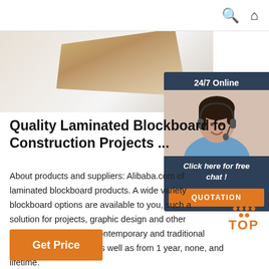Search | Home
[Figure (photo): Product image of laminated blockboard on white/gradient background]
[Figure (infographic): 24/7 Online chat widget with agent photo, 'Click here for free chat!' text and orange QUOTATION button]
Quality Laminated Blockboard fo Construction Projects ...
About products and suppliers: Alibaba.com of laminated blockboard products. A wide variety blockboard options are available to you, such a solution for projects, graphic design and other choose from modern, contemporary and traditional laminated blockboard,As well as from 1 year, none, and lifetime.
[Figure (other): Orange TOP button with dot pattern above text]
Get Price